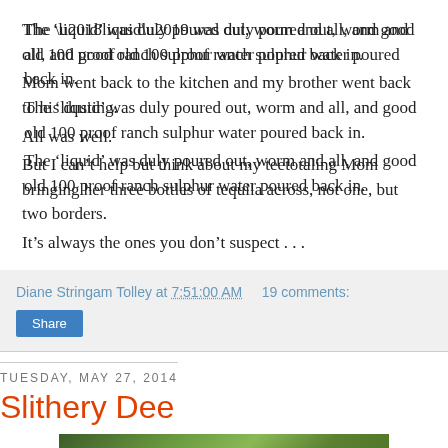The ‘liquid’ was duly poured out, worm and all, and good old 100 proof ranch sulphur water poured back in.
Mom went back to the kitchen and my brother went back to his dusting.
All was well.
But I can’t help but think about my teetotaling Mom bringing her three bottles of tequila across, not one, but two borders.
It’s always the ones you don’t suspect . . .
Diane Stringam Tolley at 7:51:00 AM   19 comments:
Share
Tuesday, May 27, 2014
Slithery Dee
[Figure (photo): Photograph of green forest/trees foliage]